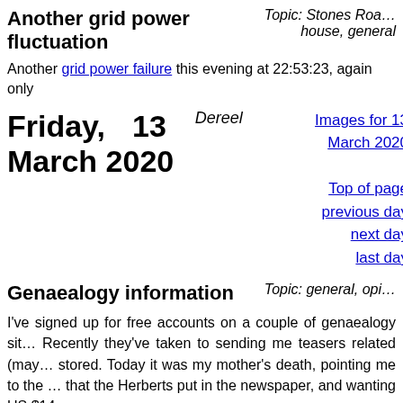Another grid power fluctuation
Topic: Stones Roa... house, general
Another grid power failure this evening at 22:53:23, again only
Friday, 13 March 2020
Dereel
Images for 13 March 2020
Top of page
previous day
next day
last day
Genaealogy information
Topic: general, opi...
I've signed up for free accounts on a couple of genaealogy sit... Recently they've taken to sending me teasers related (may... stored. Today it was my mother's death, pointing me to the ... that the Herberts put in the newspaper, and wanting US $14 o...
Anything else? Yes, an inconsistency:
Audrey Eileen Lehey has a burial event listed in the futu...